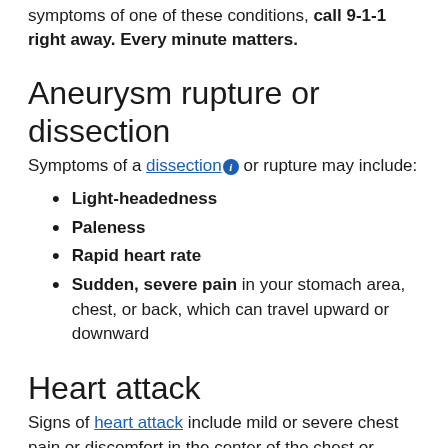symptoms of one of these conditions, call 9-1-1 right away. Every minute matters.
Aneurysm rupture or dissection
Symptoms of a dissection or rupture may include:
Light-headedness
Paleness
Rapid heart rate
Sudden, severe pain in your stomach area, chest, or back, which can travel upward or downward
Heart attack
Signs of heart attack include mild or severe chest pain or discomfort in the center of the chest or